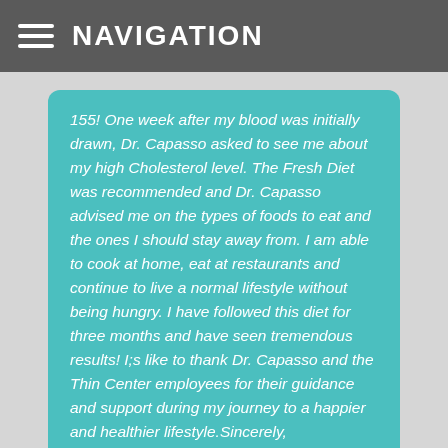NAVIGATION
155! One week after my blood was initially drawn, Dr. Capasso asked to see me about my high Cholesterol level. The Fresh Diet was recommended and Dr. Capasso advised me on the types of foods to eat and the ones I should stay away from. I am able to cook at home, eat at restaurants and continue to live a normal lifestyle without being hungry. I have followed this diet for three months and have seen tremendous results! I;s like to thank Dr. Capasso and the Thin Center employees for their guidance and support during my journey to a happier and healthier lifestyle.Sincerely, ~ Debbie
I have been the typical yo-yo dieter for most of my life. I would lose 10 pounds, gain back 11. Each time that